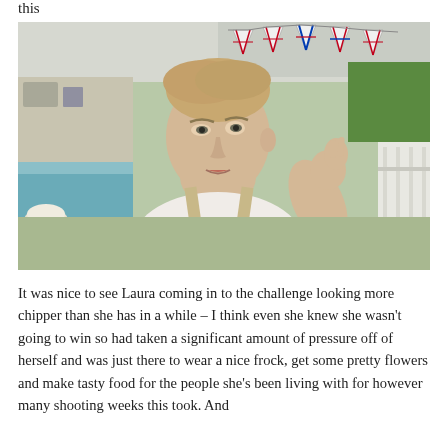this
[Figure (photo): Young man wearing a floral shirt and apron, inside a baking tent with Union Jack bunting flags and baking equipment in the background.]
It was nice to see Laura coming in to the challenge looking more chipper than she has in a while – I think even she knew she wasn't going to win so had taken a significant amount of pressure off of herself and was just there to wear a nice frock, get some pretty flowers and make tasty food for the people she's been living with for however many shooting weeks this took. And